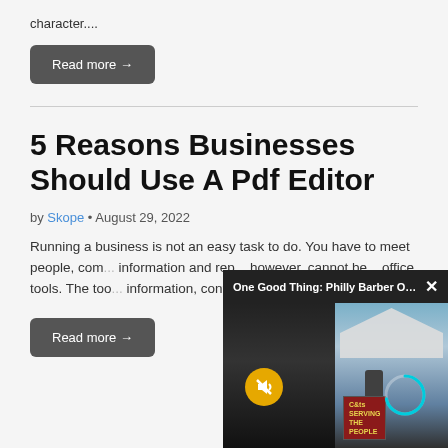character....
Read more →
5 Reasons Businesses Should Use A Pdf Editor
by Skope • August 29, 2022
Running a business is not an easy task to do. You have to meet people, com... information and rep... however, cannot be... office tools. The too... information, convert...
Read more →
[Figure (screenshot): Floating video popup overlay showing 'One Good Thing: Philly Barber Offer...' with a close button (×), a muted speaker icon on yellow circle, a progress ring indicator, and a scene with a white tent and outdoor setting on the right side, and a sign reading 'Cuts Serving The People' at bottom right.]